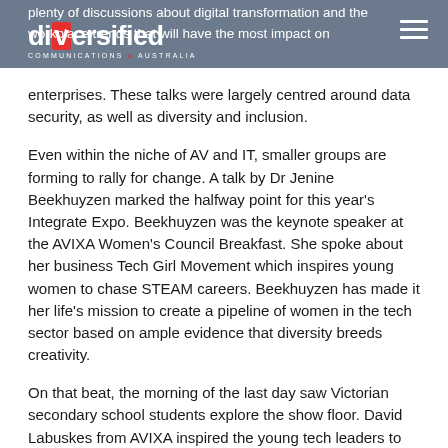plenty of discussions about digital transformation and the workplace trends that will have the most impact on enterprises. These talks were largely centred around data security, as well as diversity and inclusion.
Even within the niche of AV and IT, smaller groups are forming to rally for change. A talk by Dr Jenine Beekhuyzen marked the halfway point for this year's Integrate Expo. Beekhuyzen was the keynote speaker at the AVIXA Women's Council Breakfast. She spoke about her business Tech Girl Movement which inspires young women to chase STEAM careers. Beekhuyzen has made it her life's mission to create a pipeline of women in the tech sector based on ample evidence that diversity breeds creativity.
On that beat, the morning of the last day saw Victorian secondary school students explore the show floor. David Labuskes from AVIXA inspired the young tech leaders to "change the way people contribute to the world".